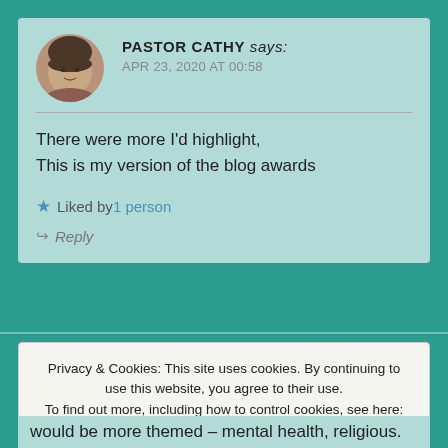PASTOR CATHY says: APR 23, 2020 AT 00:58
There were more I'd highlight,
This is my version of the blog awards
Liked by 1 person
Reply
Privacy & Cookies: This site uses cookies. By continuing to use this website, you agree to their use.
To find out more, including how to control cookies, see here: Cookie Policy
Close and accept
would be more themed – mental health, religious.